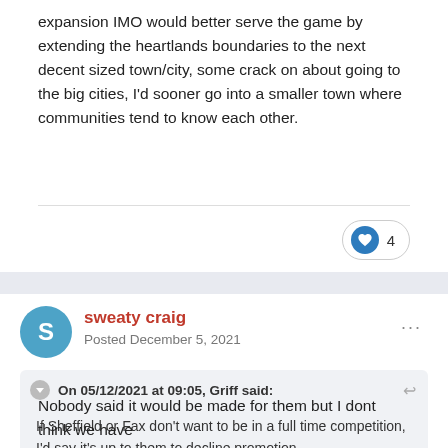expansion IMO would better serve the game by extending the heartlands boundaries to the next decent sized town/city, some crack on about going to the big cities, I'd sooner go into a smaller town where communities tend to know each other.
4
sweaty craig
Posted December 5, 2021
On 05/12/2021 at 09:05, Griff said:
If Sheffield or Fax don't want to be in a full time competition, I'd say it's up to them to decline promotion.
Not for that decision to be made for them.
Nobody said it would be made for them but I dont think we have